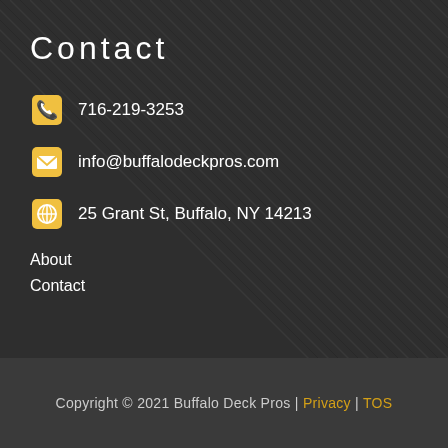Contact
716-219-3253
info@buffalodeckpros.com
25 Grant St, Buffalo, NY 14213
About
Contact
Copyright © 2021 Buffalo Deck Pros | Privacy | TOS